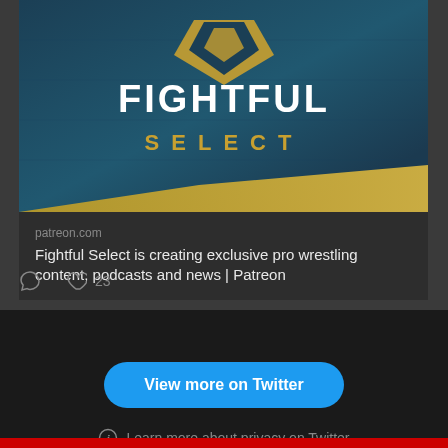[Figure (screenshot): Fightful Select Patreon card image showing the Fightful Select logo on a dark blue and gold background]
patreon.com
Fightful Select is creating exclusive pro wrestling content, podcasts and news | Patreon
23
View more on Twitter
Learn more about privacy on Twitter